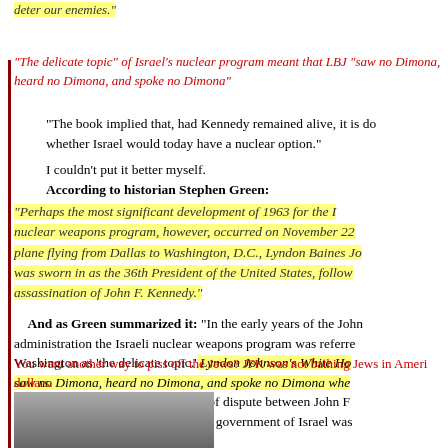deter our enemies."
"The delicate topic" of Israel's nuclear program meant that LBJ "saw no Dimona, heard no Dimona, and spoke no Dimona"
"The book implied that, had Kennedy remained alive, it is doubtful whether Israel would today have a nuclear option."
I couldn't put it better myself.
According to historian Stephen Green:
"Perhaps the most significant development of 1963 for the Israeli nuclear weapons program, however, occurred on November 22, on a plane flying from Dallas to Washington, D.C., Lyndon Baines Johnson was sworn in as the 36th President of the United States, following the assassination of John F. Kennedy."
And as Green summarized it: "In the early years of the Johnson administration the Israeli nuclear weapons program was referred to in Washington as 'the delicate topic.' Lyndon Johnson's White House saw no Dimona, heard no Dimona, and spoke no Dimona when the reactor went critical in early 1964."
Thus it was that the critical point of dispute between John F. Kennedy and the Mossad-dominated government of Israel was
You want another way to piss off the Jews? JFK was not bathing Jews in American dollars.
[Figure (photo): A black and white photograph showing two people, partially visible at the bottom of the page.]